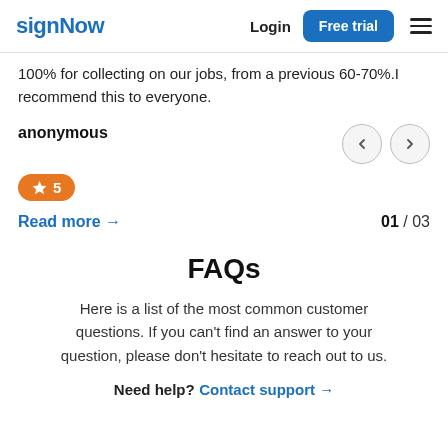signNow | Login | Free trial
100% for collecting on our jobs, from a previous 60-70%.I recommend this to everyone.
anonymous
★ 5
Read more →
01 / 03
FAQs
Here is a list of the most common customer questions. If you can't find an answer to your question, please don't hesitate to reach out to us.
Need help? Contact support →